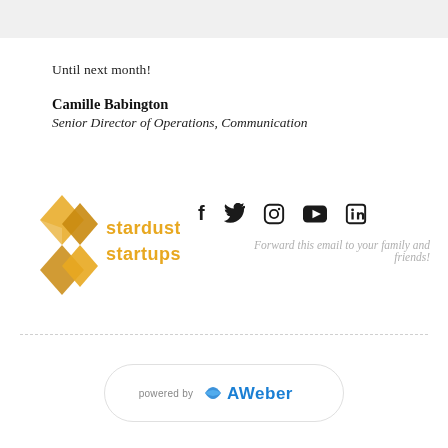Until next month!
Camille Babington
Senior Director of Operations, Communication
[Figure (logo): Stardust Startups logo with golden diamond/arrow shapes and text]
[Figure (infographic): Social media icons: Facebook, Twitter, Instagram, YouTube, LinkedIn]
Forward this email to your family and friends!
[Figure (logo): AWeber logo with text 'powered by']